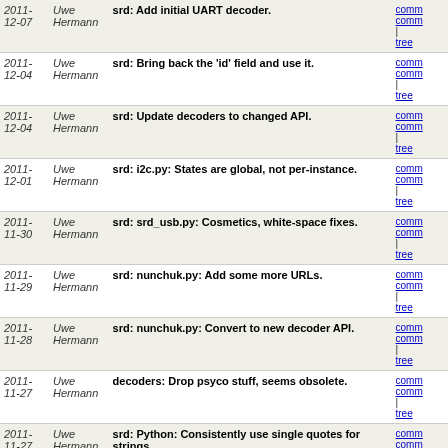| Date | Author | Message | Links |
| --- | --- | --- | --- |
| 2011-12-07 | Uwe Hermann | srd: Add initial UART decoder. | comm comm | tree |
| 2011-12-04 | Uwe Hermann | srd: Bring back the 'id' field and use it. | comm comm | tree |
| 2011-12-04 | Uwe Hermann | srd: Update decoders to changed API. | comm comm | tree |
| 2011-12-01 | Uwe Hermann | srd: i2c.py: States are global, not per-instance. | comm comm | tree |
| 2011-11-30 | Uwe Hermann | srd: srd_usb.py: Cosmetics, white-space fixes. | comm comm | tree |
| 2011-11-29 | Uwe Hermann | srd: nunchuk.py: Add some more URLs. | comm comm | tree |
| 2011-11-28 | Uwe Hermann | srd: nunchuk.py: Convert to new decoder API. | comm comm | tree |
| 2011-11-27 | Uwe Hermann | decoders: Drop psyco stuff, seems obsolete. | comm comm | tree |
| 2011-11-27 | Uwe Hermann | srd: Python: Consistently use single quotes for strings. | comm comm | tree |
| 2011-11-27 | Uwe Hermann | srd: i2c.py: Docstrings should use """. | comm comm | tree |
| 2011-11-27 | Uwe Hermann | srd: i2c.py: Mark Repeated Start condition as 'Sr'. | comm comm | tree |
| 2011-11-27 | Uwe Hermann | srd: i2c.py: Rework I2C decoder. | comm comm | tree |
| 2011-11-24 | Uwe Hermann | srd: i2c.py: Convert to new API (unfinished). | comm comm | tree |